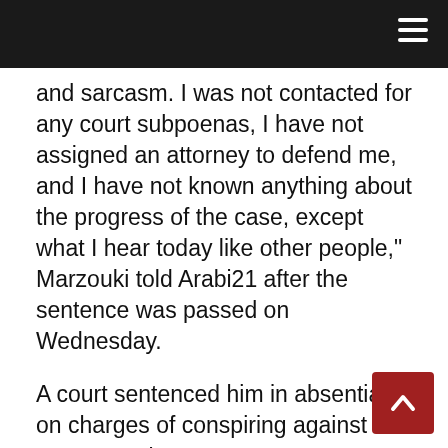and sarcasm. I was not contacted for any court subpoenas, I have not assigned an attorney to defend me, and I have not known anything about the progress of the case, except what I hear today like other people," Marzouki told Arabi21 after the sentence was passed on Wednesday.
A court sentenced him in absentia on charges of conspiring against state security.
Marzouki pointed out that this is evidence of President Kais Saied's dominance over the judicial authority. "It is clear through the conduct of this trial, including its accusations